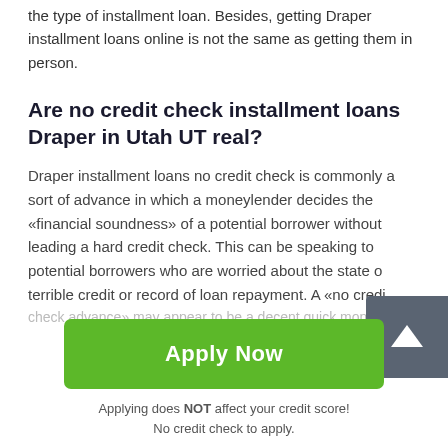the type of installment loan. Besides, getting Draper installment loans online is not the same as getting them in person.
Are no credit check installment loans Draper in Utah UT real?
Draper installment loans no credit check is commonly a sort of advance in which a moneylender decides the «financial soundness» of a potential borrower without leading a hard credit check. This can be speaking to potential borrowers who are worried about the state of terrible credit or record of loan repayment. A «no credit check advance» may appear to be a decent quick money...
[Figure (other): Green 'Apply Now' button]
Applying does NOT affect your credit score!
No credit check to apply.